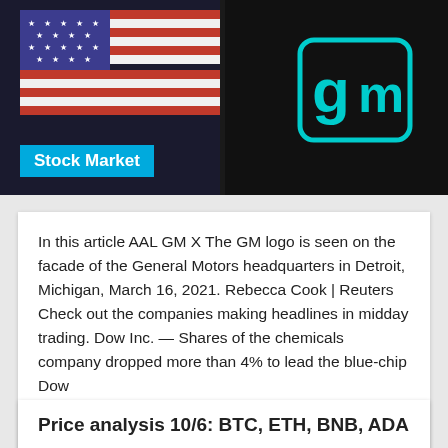[Figure (photo): Hero image showing a US flag on the left side and a dark background with the GM (General Motors) logo in teal/cyan on the right side.]
Stock Market
In this article AAL GM X The GM logo is seen on the facade of the General Motors headquarters in Detroit, Michigan, March 16, 2021. Rebecca Cook | Reuters Check out the companies making headlines in midday trading. Dow Inc. — Shares of the chemicals company dropped more than 4% to lead the blue-chip Dow
... read more
October 6, 2021
Price analysis 10/6: BTC, ETH, BNB, ADA